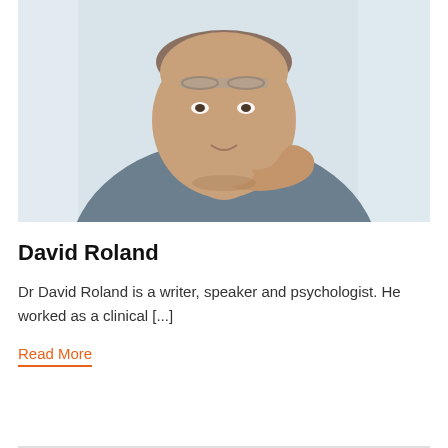[Figure (photo): Portrait photo of a middle-aged man with glasses resting on forehead, wearing a blue-grey long-sleeve shirt, chin resting on his hand, smiling slightly, light blurred background.]
David Roland
Dr David Roland is a writer, speaker and psychologist. He worked as a clinical [...]
Read More